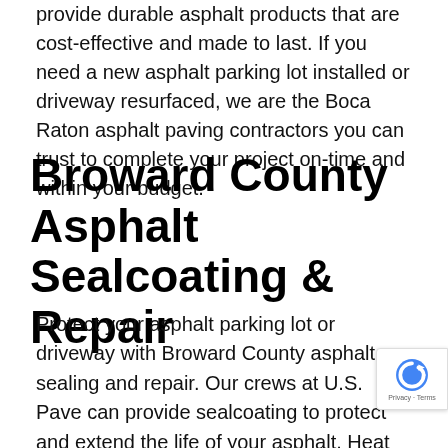provide durable asphalt products that are cost-effective and made to last. If you need a new asphalt parking lot installed or driveway resurfaced, we are the Boca Raton asphalt paving contractors you can trust to complete your project on-time and within your budget.
Broward County Asphalt Sealcoating & Repair
Protect your asphalt parking lot or driveway with Broward County asphalt sealing and repair. Our crews at U.S. Pave can provide sealcoating to protect and extend the life of your asphalt. Heat and water intrusion can cause quicker deterioration of asphalt. With sealcoating, a protective layer is added to the asphalt surface, reducing wear and t… your pavement. With sealcoating services performed… few years, you can add years to the life of your parking lot